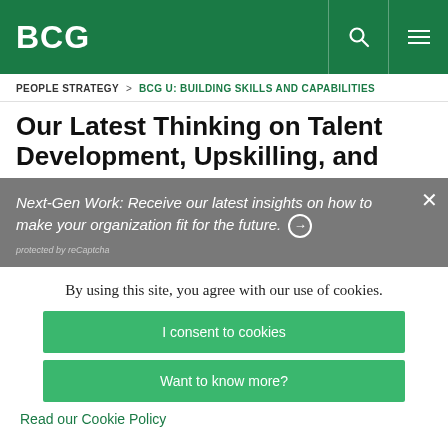BCG
PEOPLE STRATEGY > BCG U: BUILDING SKILLS AND CAPABILITIES
Our Latest Thinking on Talent Development, Upskilling, and
Next-Gen Work: Receive our latest insights on how to make your organization fit for the future. protected by reCaptcha
By using this site, you agree with our use of cookies.
I consent to cookies
Want to know more?
Read our Cookie Policy